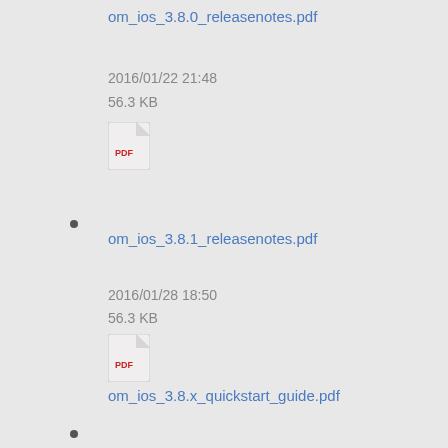om_ios_3.8.0_releasenotes.pdf
2016/01/22 21:48
56.3 KB
om_ios_3.8.1_releasenotes.pdf
2016/01/28 18:50
56.3 KB
om_ios_3.8.x_quickstart_guide.pdf
2016/01/22 21:53
837.8 KB
om_ios_3.9.0_releasenotes.pdf
2016/05/11 17:54